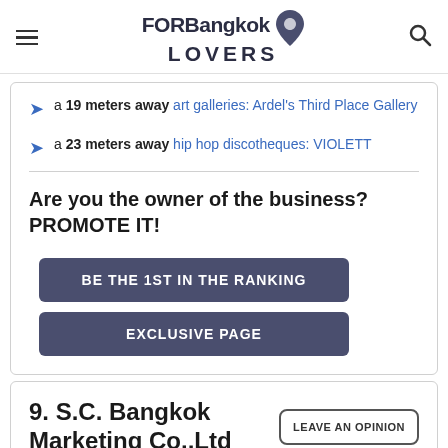FORBangkok LOVERS
a 19 meters away art galleries: Ardel's Third Place Gallery
a 23 meters away hip hop discotheques: VIOLETT
Are you the owner of the business? PROMOTE IT!
BE THE 1ST IN THE RANKING
EXCLUSIVE PAGE
9. S.C. Bangkok Marketing Co.,Ltd